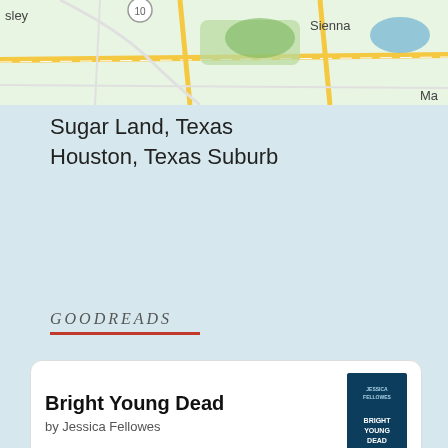[Figure (map): Google Maps screenshot showing Sugar Land area near Houston, Texas. Shows roads, green areas, a blue lake/reservoir, and labels including 'Sienna' and 'Ma' visible on right side. Route 10 marker visible.]
Sugar Land, Texas
Houston, Texas Suburb
GOODREADS
Bright Young Dead
by Jessica Fellowes
The Second Home
by Christina Clancy
Death in Her Hands
by Ottessa Moshfegh